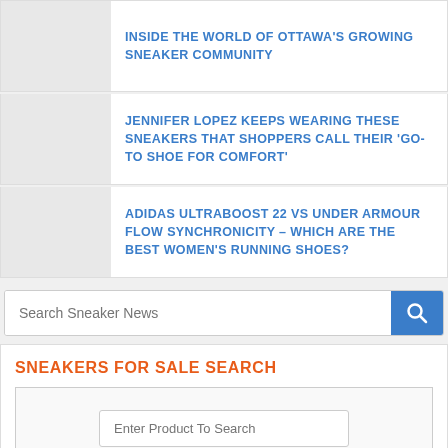INSIDE THE WORLD OF OTTAWA'S GROWING SNEAKER COMMUNITY
JENNIFER LOPEZ KEEPS WEARING THESE SNEAKERS THAT SHOPPERS CALL THEIR 'GO-TO SHOE FOR COMFORT'
ADIDAS ULTRABOOST 22 VS UNDER ARMOUR FLOW SYNCHRONICITY – WHICH ARE THE BEST WOMEN'S RUNNING SHOES?
Search Sneaker News
SNEAKERS FOR SALE SEARCH
Enter Product To Search